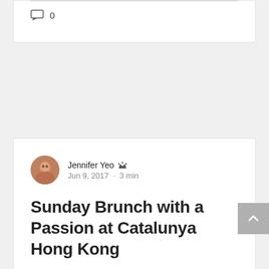[Figure (other): Comment icon with count '0' at bottom of a blog post card]
[Figure (other): Blog post card showing author Jennifer Yeo with crown/admin icon, date Jun 9, 2017 · 3 min, title 'Sunday Brunch with a Passion at Catalunya Hong Kong', and excerpt 'The yummy paella The very first time I tried Sunday Brunch with a Passion was at Catalunya in...']
[Figure (other): Back to top button (grey square with upward chevron arrow)]